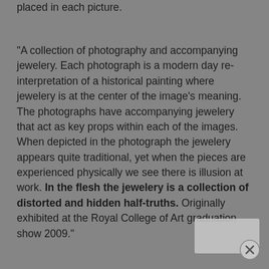placed in each picture.
"A collection of photography and accompanying jewelery. Each photograph is a modern day re-interpretation of a historical painting where jewelery is at the center of the image's meaning. The photographs have accompanying jewelery that act as key props within each of the images. When depicted in the photograph the jewelery appears quite traditional, yet when the pieces are experienced physically we see there is illusion at work. In the flesh the jewelery is a collection of distorted and hidden half-truths. Originally exhibited at the Royal College of Art graduation show 2009."